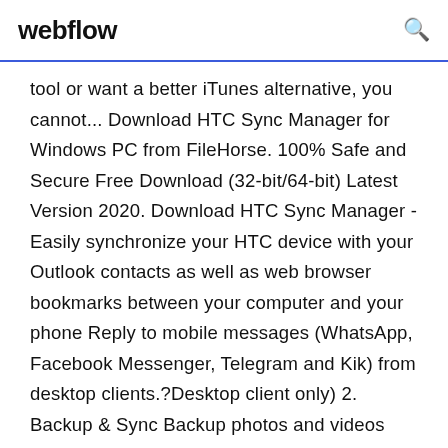webflow
tool or want a better iTunes alternative, you cannot... Download HTC Sync Manager for Windows PC from FileHorse. 100% Safe and Secure Free Download (32-bit/64-bit) Latest Version 2020. Download HTC Sync Manager - Easily synchronize your HTC device with your Outlook contacts as well as web browser bookmarks between your computer and your phone Reply to mobile messages (WhatsApp, Facebook Messenger, Telegram and Kik) from desktop clients.?Desktop client only) 2. Backup & Sync Backup photos and videos from phone to computer.?Desktop client only) Share clipboard between phone and...